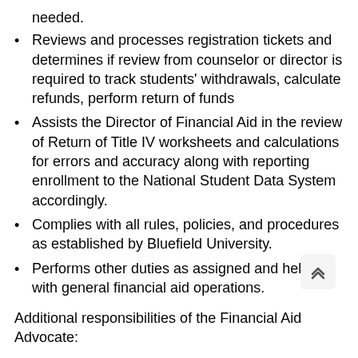needed.
Reviews and processes registration tickets and determines if review from counselor or director is required to track students' withdrawals, calculate refunds, perform return of funds
Assists the Director of Financial Aid in the review of Return of Title IV worksheets and calculations for errors and accuracy along with reporting enrollment to the National Student Data System accordingly.
Complies with all rules, policies, and procedures as established by Bluefield University.
Performs other duties as assigned and helps with general financial aid operations.
Additional responsibilities of the Financial Aid Advocate:
Provide front-line customer service in the office.
Ability to explain FERPA to all constituent groups.